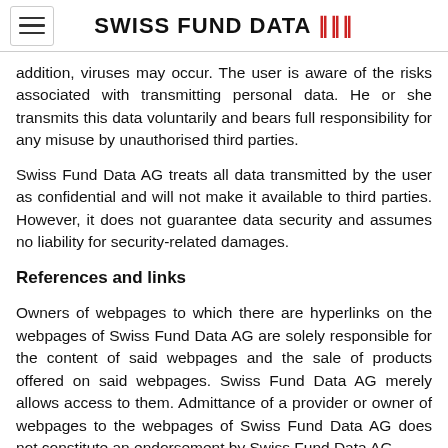SWISS FUND DATA
addition, viruses may occur. The user is aware of the risks associated with transmitting personal data. He or she transmits this data voluntarily and bears full responsibility for any misuse by unauthorised third parties.
Swiss Fund Data AG treats all data transmitted by the user as confidential and will not make it available to third parties. However, it does not guarantee data security and assumes no liability for security-related damages.
References and links
Owners of webpages to which there are hyperlinks on the webpages of Swiss Fund Data AG are solely responsible for the content of said webpages and the sale of products offered on said webpages. Swiss Fund Data AG merely allows access to them. Admittance of a provider or owner of webpages to the webpages of Swiss Fund Data AG does not constitute an endorsement by Swiss Fund Data AG.
Legal and other legal restrictions